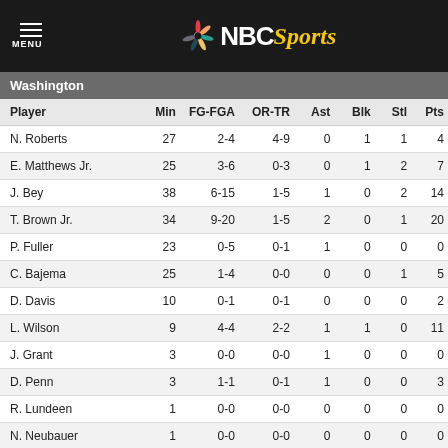NBC Sports
Washington
| Player | Min | FG-FGA | OR-TR | Ast | Blk | Stl | Pts |
| --- | --- | --- | --- | --- | --- | --- | --- |
| N. Roberts | 27 | 2-4 | 4-9 | 0 | 1 | 1 | 4 |
| E. Matthews Jr. | 25 | 3-6 | 0-3 | 0 | 1 | 2 | 7 |
| J. Bey | 38 | 6-15 | 1-5 | 1 | 0 | 2 | 14 |
| T. Brown Jr. | 34 | 9-20 | 1-5 | 2 | 0 | 1 | 20 |
| P. Fuller | 23 | 0-5 | 0-1 | 1 | 0 | 0 | 0 |
| C. Bajema | 25 | 1-4 | 0-0 | 0 | 0 | 1 | 5 |
| D. Davis | 10 | 0-1 | 0-1 | 0 | 0 | 0 | 2 |
| L. Wilson | 9 | 4-4 | 2-2 | 1 | 1 | 0 | 11 |
| J. Grant | 3 | 0-0 | 0-0 | 1 | 0 | 0 | 0 |
| D. Penn | 3 | 1-1 | 0-1 | 1 | 0 | 0 | 3 |
| R. Lundeen | 1 | 0-0 | 0-0 | 0 | 0 | 0 | 0 |
| N. Neubauer | 1 | 0-0 | 0-0 | 0 | 0 | 0 | 0 |